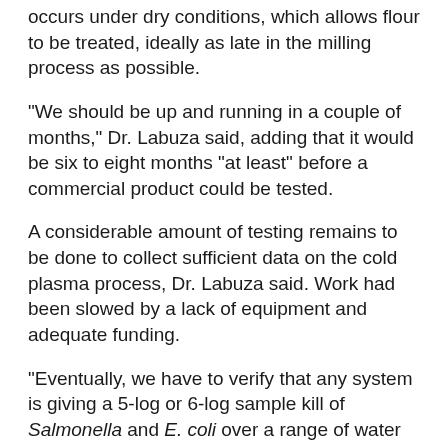occurs under dry conditions, which allows flour to be treated, ideally as late in the milling process as possible.
"We should be up and running in a couple of months," Dr. Labuza said, adding that it would be six to eight months "at least" before a commercial product could be tested.
A considerable amount of testing remains to be done to collect sufficient data on the cold plasma process, Dr. Labuza said. Work had been slowed by a lack of equipment and adequate funding.
"Eventually, we have to verify that any system is giving a 5-log or 6-log sample kill of Salmonella and E. coli over a range of water activity," he said.
There is a major inherent risk associated with scaling up cold plasma to a commercial level, including the potential of a plasma chain...